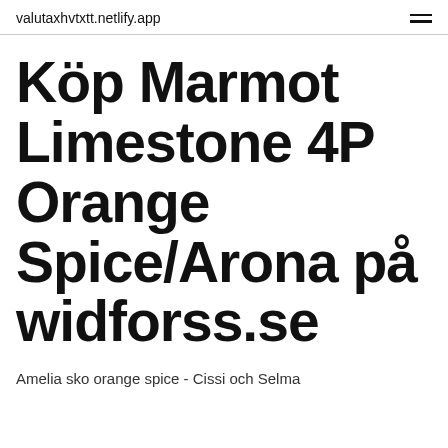valutaxhvtxtt.netlify.app
Köp Marmot Limestone 4P Orange Spice/Arona på widforss.se
Amelia sko orange spice - Cissi och Selma